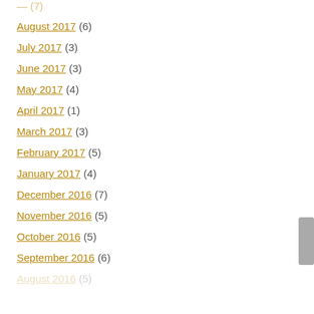August 2017 (6)
July 2017 (3)
June 2017 (3)
May 2017 (4)
April 2017 (1)
March 2017 (3)
February 2017 (5)
January 2017 (4)
December 2016 (7)
November 2016 (5)
October 2016 (5)
September 2016 (6)
August 2016 (5)